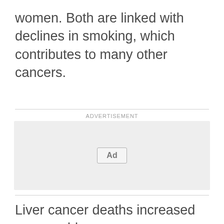women. Both are linked with declines in smoking, which contributes to many other cancers.
[Figure (other): Advertisement placeholder box with 'Ad' button in the center]
Liver cancer deaths increased among older